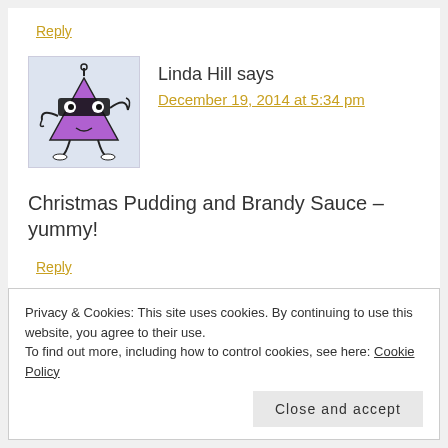Reply
[Figure (illustration): Purple cartoon robot/alien character shaped like an inverted triangle with eyes, antennae, and limbs, on light blue background]
Linda Hill says
December 19, 2014 at 5:34 pm
Christmas Pudding and Brandy Sauce – yummy!
Reply
Privacy & Cookies: This site uses cookies. By continuing to use this website, you agree to their use.
To find out more, including how to control cookies, see here: Cookie Policy